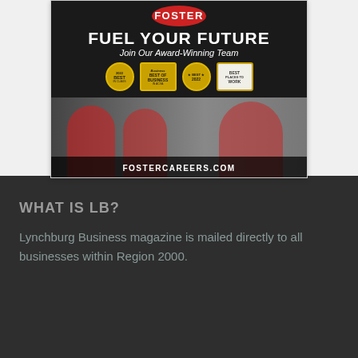[Figure (illustration): Foster Fuels advertisement: dark background with red circular Foster logo at top, bold white text 'FUEL YOUR FUTURE' and italic 'Join Our Award-Winning Team', four award badges (Best of Business 2022 type awards), photo of three workers in red shirts and a woman on phone, URL FOSTERCAREERS.COM at bottom]
WHAT IS LB?
Lynchburg Business magazine is mailed directly to all businesses within Region 2000.